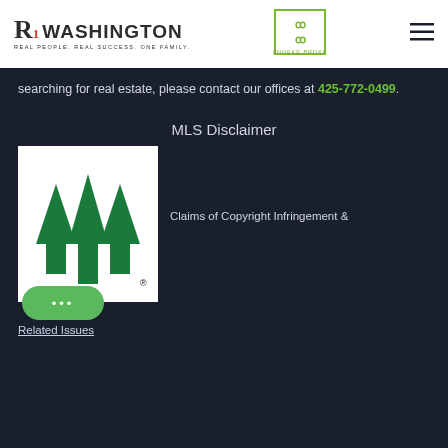[Figure (logo): Washington R1 real estate logo with tagline 'Real People Real Success One Family']
[Figure (logo): Brenneke Brokers logo - square icon with stylized letters in green]
[Figure (illustration): Hamburger menu icon (three horizontal lines)]
searching for real estate, please contact our offices at 425-772-0499.
MLS Disclaimer
[Figure (logo): MLS logo with three green upward arrows and registered trademark symbol]
Claims of Copyright Infringement &
Related Issues